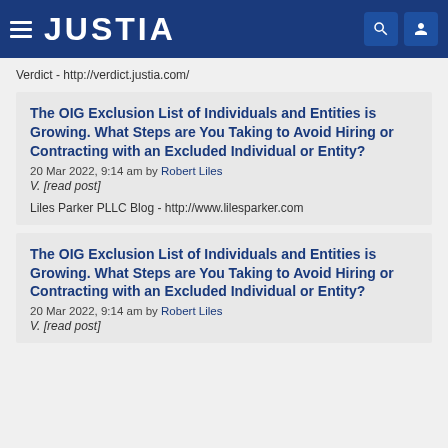JUSTIA
Verdict - http://verdict.justia.com/
The OIG Exclusion List of Individuals and Entities is Growing. What Steps are You Taking to Avoid Hiring or Contracting with an Excluded Individual or Entity?
20 Mar 2022, 9:14 am by Robert Liles
V. [read post]
Liles Parker PLLC Blog - http://www.lilesparker.com
The OIG Exclusion List of Individuals and Entities is Growing. What Steps are You Taking to Avoid Hiring or Contracting with an Excluded Individual or Entity?
20 Mar 2022, 9:14 am by Robert Liles
V. [read post]